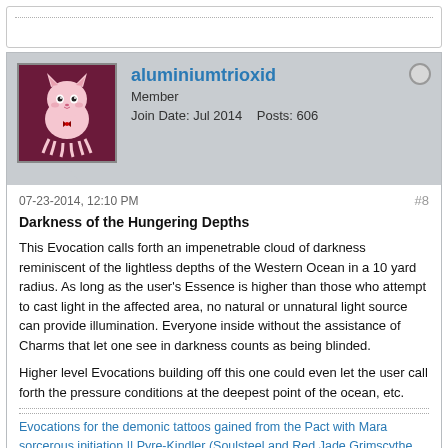[Figure (illustration): Forum post top box area with dotted top border]
[Figure (illustration): User avatar: cartoon cat with octopus on dark magenta background]
aluminiumtrioxid
Member
Join Date: Jul 2014    Posts: 606
07-23-2014, 12:10 PM
#8
Darkness of the Hungering Depths
This Evocation calls forth an impenetrable cloud of darkness reminiscent of the lightless depths of the Western Ocean in a 10 yard radius. As long as the user's Essence is higher than those who attempt to cast light in the affected area, no natural or unnatural light source can provide illumination. Everyone inside without the assistance of Charms that let one see in darkness counts as being blinded.
Higher level Evocations building off this one could even let the user call forth the pressure conditions at the deepest point of the ocean, etc.
Evocations for the demonic tattoos gained from the Pact with Mara sorcerous initiation || Pyre-Kindler (Soulsteel and Red Jade Grimscythe, Artifact 3) || Tenebrous Descent (Stormcaller's Black Jade